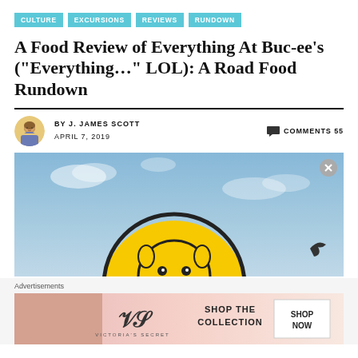CULTURE  EXCURSIONS  REVIEWS  RUNDOWN
A Food Review of Everything At Buc-ee’s (“Everything…” LOL): A Road Food Rundown
BY J. JAMES SCOTT  APRIL 7, 2019  COMMENTS 55
[Figure (photo): Buc-ee's sign against blue sky background with beaver mascot logo]
Advertisements
[Figure (photo): Victoria's Secret advertisement banner: SHOP THE COLLECTION - SHOP NOW]